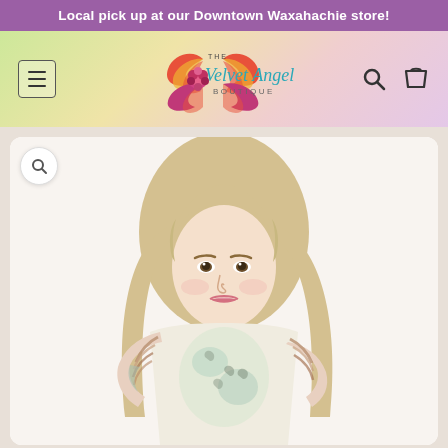Local pick up at our Downtown Waxahachie store!
[Figure (logo): The Velvet Angel Boutique logo with colorful butterfly/angel wings and teal script text]
[Figure (photo): Blonde female model wearing a colorful printed top with leopard print and stripe pattern on sleeves, photographed from waist up]